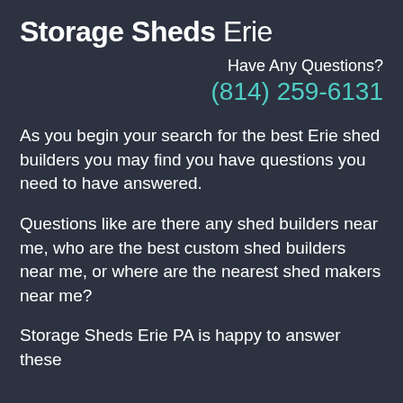Storage Sheds Erie
Have Any Questions?
(814) 259-6131
As you begin your search for the best Erie shed builders you may find you have questions you need to have answered.
Questions like are there any shed builders near me, who are the best custom shed builders near me, or where are the nearest shed makers near me?
Storage Sheds Erie PA is happy to answer these